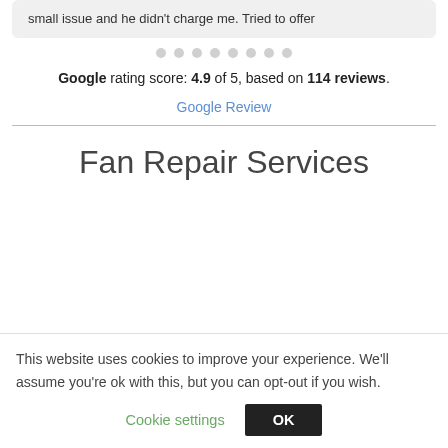small issue and he didn't charge me. Tried to offer
Google rating score: 4.9 of 5, based on 114 reviews.
Google Review
Fan Repair Services
This website uses cookies to improve your experience. We'll assume you're ok with this, but you can opt-out if you wish.
Cookie settings  OK